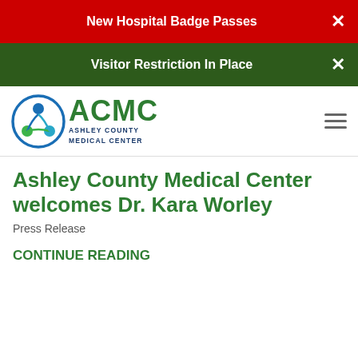New Hospital Badge Passes
Visitor Restriction In Place
[Figure (logo): ACMC Ashley County Medical Center logo with circular icon of figures in blue and green]
Ashley County Medical Center welcomes Dr. Kara Worley
Press Release
CONTINUE READING